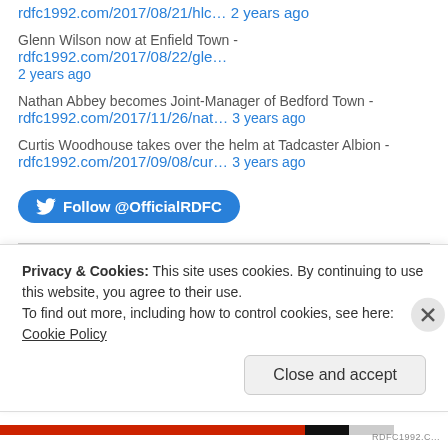rdfc1992.com/2017/08/21/hlc… 2 years ago
Glenn Wilson now at Enfield Town - rdfc1992.com/2017/08/22/gle… 2 years ago
Nathan Abbey becomes Joint-Manager of Bedford Town - rdfc1992.com/2017/11/26/nat… 3 years ago
Curtis Woodhouse takes over the helm at Tadcaster Albion - rdfc1992.com/2017/09/08/cur… 3 years ago
[Figure (other): Twitter Follow button: Follow @OfficialRDFC]
Privacy & Cookies: This site uses cookies. By continuing to use this website, you agree to their use. To find out more, including how to control cookies, see here: Cookie Policy
Close and accept